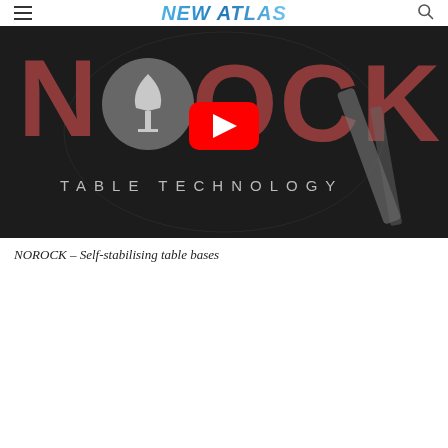NEW ATLAS
[Figure (screenshot): YouTube video thumbnail showing NOROCK Table Technology branding with dark background, wine glass logo, and red YouTube play button overlay. Text reads 'NOROCK' and 'TABLE TECHNOLOGY'.]
NOROCK – Self-stabilising table bases